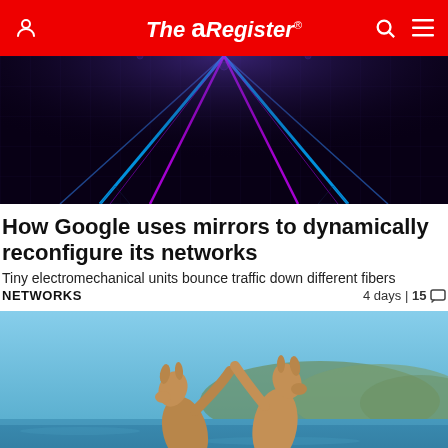The Register
[Figure (photo): Dark tech background with bright neon laser beams in blue and magenta converging at center, geometric circuit-board pattern overlay]
How Google uses mirrors to dynamically reconfigure its networks
Tiny electromechanical units bounce traffic down different fibers
NETWORKS   4 days | 15
[Figure (photo): Two kangaroos fighting/boxing on their hind legs near a blue body of water with hills in the background]